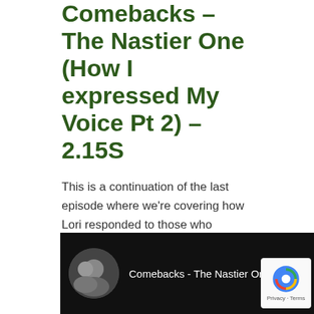Comebacks – The Nastier One (How I expressed My Voice Pt 2) – 2.15S
This is a continuation of the last episode where we're covering how Lori responded to those who objected to how we've recovered.
This exchange, however, got a little nastier than the last one.
–
VIDEO
[Figure (screenshot): YouTube video embed showing 'Comebacks - The Nastier One ...' with a profile photo of a couple, video title text, and three-dot menu icon on a dark background. A reCAPTCHA badge appears in the bottom right corner with 'Privacy · Terms' text.]